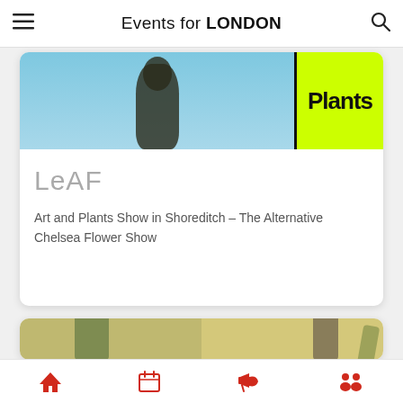Events for LONDON
[Figure (photo): Card with image showing art sculpture against blue sky on left and bright yellow-green 'Plants' sign on right]
LeAF
Art and Plants Show in Shoreditch – The Alternative Chelsea Flower Show
[Figure (photo): Partially visible card showing two people in a room with plants]
Bottom navigation bar with home, calendar, megaphone, and people icons